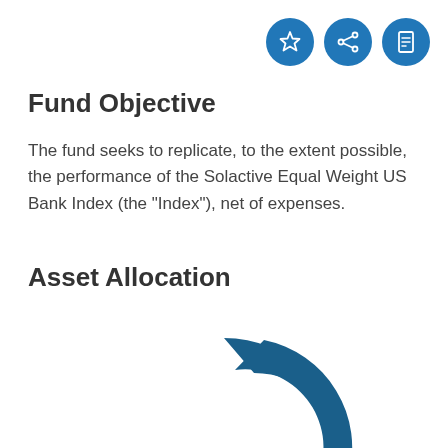Fund Objective
The fund seeks to replicate, to the extent possible, the performance of the Solactive Equal Weight US Bank Index (the "Index"), net of expenses.
Asset Allocation
[Figure (donut-chart): Partially visible donut/pie chart showing asset allocation, rendered in dark blue (#1a5f8a). Only the upper-right portion of the chart is visible, suggesting a loading state or partial crop.]